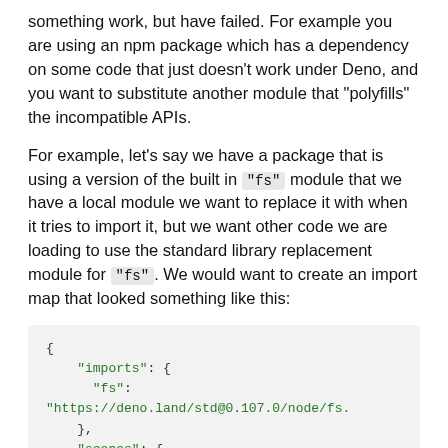something work, but have failed. For example you are using an npm package which has a dependency on some code that just doesn't work under Deno, and you want to substitute another module that "polyfills" the incompatible APIs.
For example, let's say we have a package that is using a version of the built in "fs" module that we have a local module we want to replace it with when it tries to import it, but we want other code we are loading to use the standard library replacement module for "fs". We would want to create an import map that looked something like this:
{
    "imports": {
      "fs": "https://deno.land/std@0.107.0/node/fs.
    },
    "scopes": {
      "https://deno.land/x/example": {
        "fs": "./patched/fs.ts"